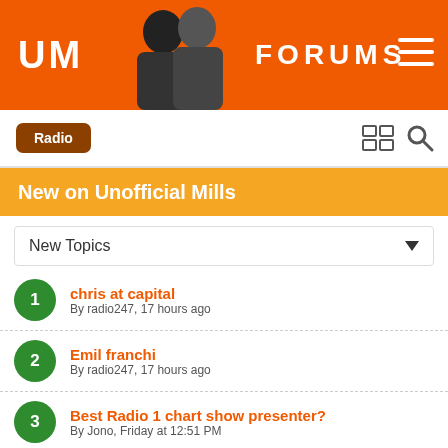UM FORUMS
Radio
New on Unofficial Mills
New Topics
chris at capital
By radio247, 17 hours ago
Emil franchi
By radio247, 17 hours ago
Best Radio 1 chart show presenter?
By Jono, Friday at 12:51 PM
What will be Scott and Chris' last song?
By Jono, Thursday at 07:12 PM
Get Gypsy Kings into The Chart
By TheSaviourisHere, August 7
Favourite moments of Beccy/Chappers/Laura